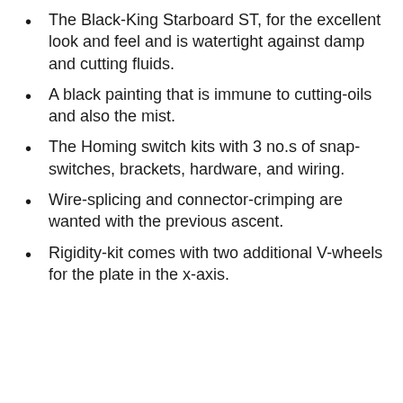The Black-King Starboard ST, for the excellent look and feel and is watertight against damp and cutting fluids.
A black painting that is immune to cutting-oils and also the mist.
The Homing switch kits with 3 no.s of snap- switches, brackets, hardware, and wiring.
Wire-splicing and connector-crimping are wanted with the previous ascent.
Rigidity-kit comes with two additional V-wheels for the plate in the x-axis.